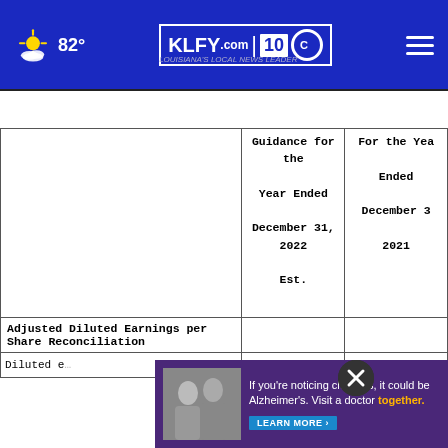KLFY.com 10 — 82° weather header
|  | Guidance for the Year Ended December 31, 2022 Est. | For the Year Ended December 31, 2021 |
| --- | --- | --- |
| Adjusted Diluted Earnings per Share Reconciliation |  |  |
| Diluted earnings per share | $ [value] | 4.[value] |
[Figure (other): Advertisement overlay: Alzheimer's awareness ad with 'If you're noticing changes, it could be Alzheimer's. Visit a doctor together. LEARN MORE' on purple background with photo of two people]